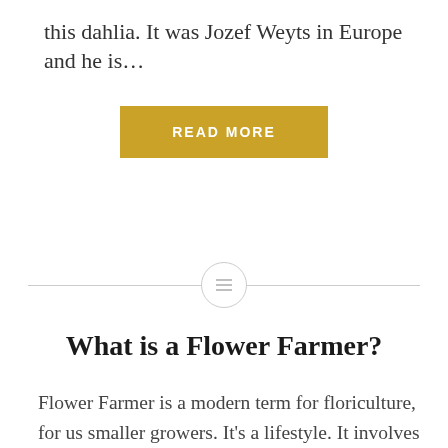this dahlia. It was Jozef Weyts in Europe and he is…
READ MORE
[Figure (other): Horizontal divider line with a circle icon in the center containing three horizontal lines (menu/list icon)]
What is a Flower Farmer?
Flower Farmer is a modern term for floriculture, for us smaller growers. It's a lifestyle. It involves growing flowers, shrubs and plants (also called Specialty Cuts) for weddings, CSA customers, florists and possibly, farmers markets. It is also a